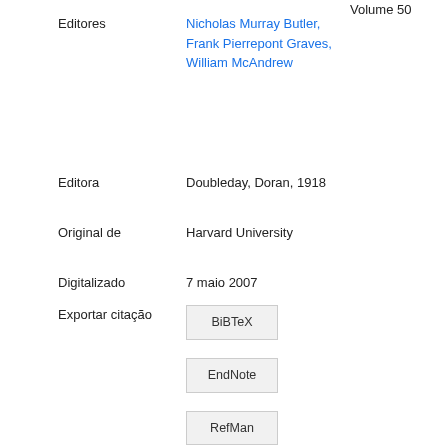Volume 50
Editores: Nicholas Murray Butler, Frank Pierrepont Graves, William McAndrew
Editora: Doubleday, Doran, 1918
Original de: Harvard University
Digitalizado: 7 maio 2007
Exportar citação
BiBTeX
EndNote
RefMan